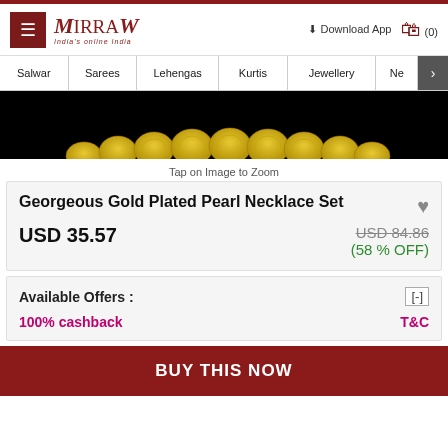Mirraw - India's online India
Salwar | Sarees | Lehengas | Kurtis | Jewellery | Ne >
[Figure (photo): Product image of a gold plated pearl necklace set on black background]
Tap on Image to Zoom
Georgeous Gold Plated Pearl Necklace Set
USD 35.57   USD 84.86  (58 % OFF)
Available Offers :   [-]
100% cashback   T&C
BUY THIS NOW